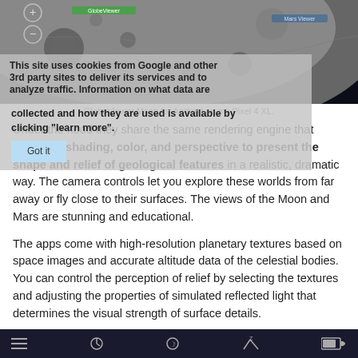[Figure (screenshot): Screenshot of GlobeViewer Moon app on Android Pixel 4 XL showing moon surface with overlay UI elements and cookie consent dialog]
GlobeViewer Moon for Android on my Pixel 4 XL.
Under the hood they share the same rendering engine that combines shading, color, and perspective to present the shape and relief of geological features in a realistic, dramatic way. The camera controls let you explore these worlds from far away or fly close to their surfaces. The views of the Moon and Mars are stunning and educational.
The apps come with high-resolution planetary textures based on space images and accurate altitude data of the celestial bodies. You can control the perception of relief by selecting the textures and adjusting the properties of simulated reflected light that determines the visual strength of surface details.